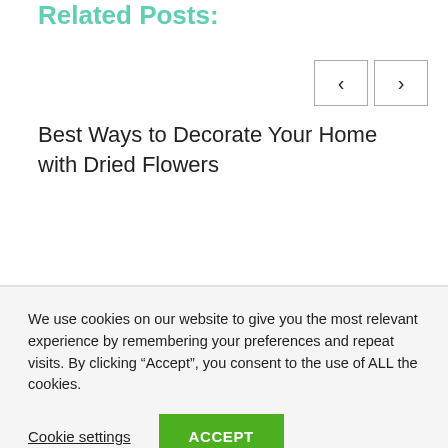Related Posts:
[Figure (other): Navigation buttons with left and right arrow chevrons for carousel navigation]
Best Ways to Decorate Your Home with Dried Flowers
We use cookies on our website to give you the most relevant experience by remembering your preferences and repeat visits. By clicking “Accept”, you consent to the use of ALL the cookies.
Cookie settings
ACCEPT